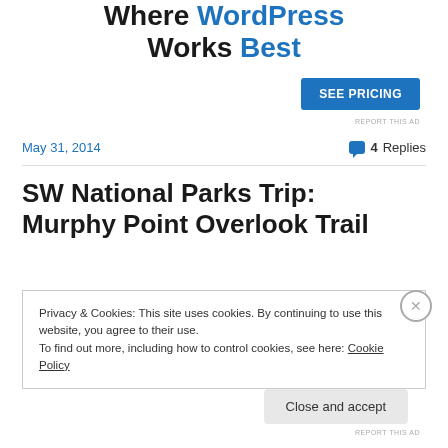Where WordPress Works Best
[Figure (other): SEE PRICING button]
REPORT THIS AD
May 31, 2014   💬 4 Replies
SW National Parks Trip: Murphy Point Overlook Trail
Privacy & Cookies: This site uses cookies. By continuing to use this website, you agree to their use.
To find out more, including how to control cookies, see here: Cookie Policy
Close and accept